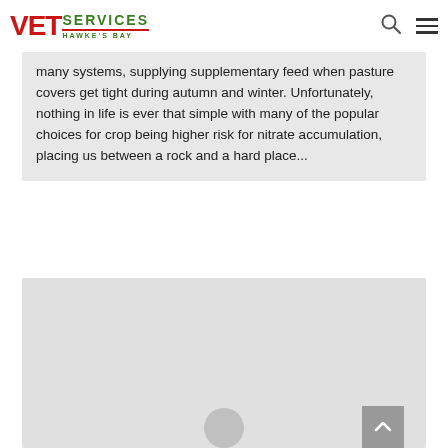VET SERVICES HAWKE'S BAY
many systems, supplying supplementary feed when pasture covers get tight during autumn and winter. Unfortunately, nothing in life is ever that simple with many of the popular choices for crop being higher risk for nitrate accumulation, placing us between a rock and a hard place...
[Figure (photo): Gray placeholder image card with a partial circle visible at the bottom center, and a scroll-to-top button in the bottom right corner.]